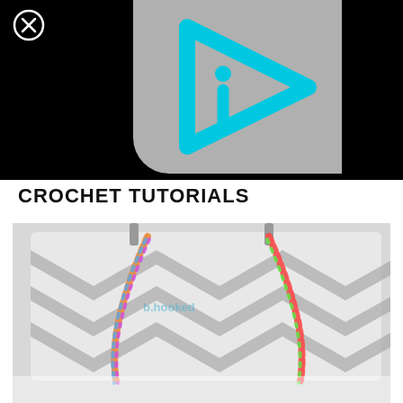[Figure (screenshot): Black background with a gray rectangle containing a cyan/turquoise play button icon with a lowercase 'i' inside a rounded triangle shape. A small circled X icon appears in the upper left corner of the black area.]
CROCHET TUTORIALS
[Figure (photo): Photo of a gray and white chevron patterned handbag/purse with a rainbow-colored crocheted chain strap and a silver metal chain. The bag is photographed against a light background. A 'b.hooked' watermark is visible on the image.]